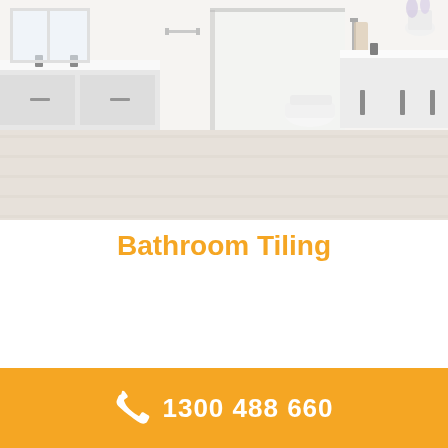[Figure (photo): A modern bathroom interior with glass shower enclosure, white countertop vanity, grey cabinets, and light wood-effect floor tiles. The image has a light, washed-out tone.]
Bathroom Tiling
1300 488 660